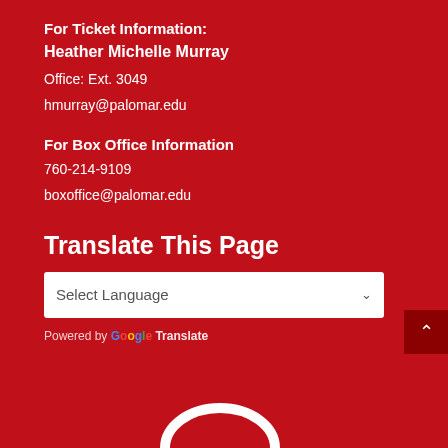For Ticket Information:
Heather Michelle Murray
Office: Ext. 3049
hmurray@palomar.edu
For Box Office Information
760-214-9109
boxoffice@palomar.edu
Translate This Page
Select Language
Powered by Google Translate